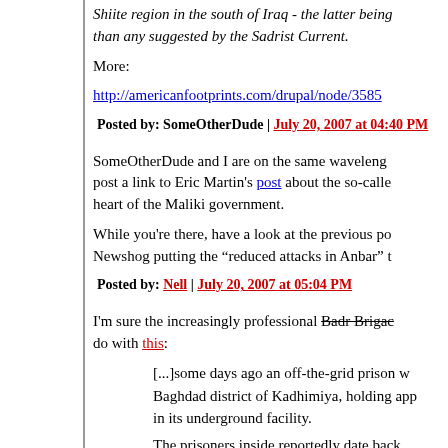Shiite region in the south of Iraq - the latter being than any suggested by the Sadrist Current.
More:
http://americanfootprints.com/drupal/node/3585
Posted by: SomeOtherDude | July 20, 2007 at 04:40 PM
SomeOtherDude and I are on the same waveleng... post a link to Eric Martin's post about the so-calle... heart of the Maliki government.
While you're there, have a look at the previous po... Newshog putting the "reduced attacks in Anbar" t...
Posted by: Nell | July 20, 2007 at 05:04 PM
I'm sure the increasingly professional Badr Brigade do with this:
[...]some days ago an off-the-grid prison w... Baghdad district of Kadhimiya, holding app... in its underground facility.
The prisoners inside reportedly date back...